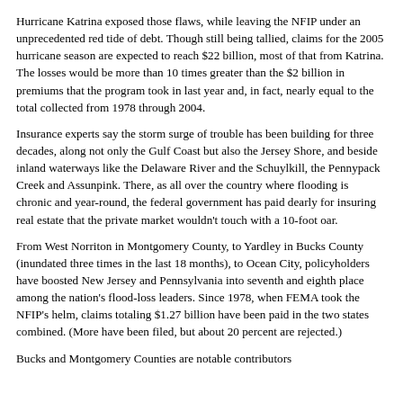Hurricane Katrina exposed those flaws, while leaving the NFIP under an unprecedented red tide of debt. Though still being tallied, claims for the 2005 hurricane season are expected to reach $22 billion, most of that from Katrina. The losses would be more than 10 times greater than the $2 billion in premiums that the program took in last year and, in fact, nearly equal to the total collected from 1978 through 2004.
Insurance experts say the storm surge of trouble has been building for three decades, along not only the Gulf Coast but also the Jersey Shore, and beside inland waterways like the Delaware River and the Schuylkill, the Pennypack Creek and Assunpink. There, as all over the country where flooding is chronic and year-round, the federal government has paid dearly for insuring real estate that the private market wouldn't touch with a 10-foot oar.
From West Norriton in Montgomery County, to Yardley in Bucks County (inundated three times in the last 18 months), to Ocean City, policyholders have boosted New Jersey and Pennsylvania into seventh and eighth place among the nation's flood-loss leaders. Since 1978, when FEMA took the NFIP's helm, claims totaling $1.27 billion have been paid in the two states combined. (More have been filed, but about 20 percent are rejected.)
Bucks and Montgomery Counties are notable contributors